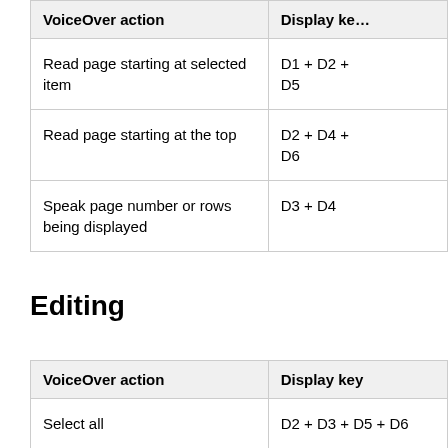| VoiceOver action | Display ke… |
| --- | --- |
| Read page starting at selected item | D1 + D2 +
D5 |
| Read page starting at the top | D2 + D4 +
D6 |
| Speak page number or rows being displayed | D3 + D4 |
Editing
| VoiceOver action | Display key |
| --- | --- |
| Select all | D2 + D3 + D5 + D6 |
| … | D?+D?+D? |